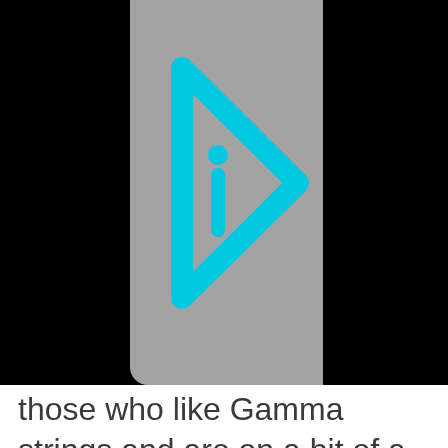[Figure (logo): Cyan/turquoise stylized play-button triangle with letter 'i' inside, on a grey rounded rectangle background, centered against a black background]
those who like Gamma strings and are on a bit of a budget, this is one to consider.